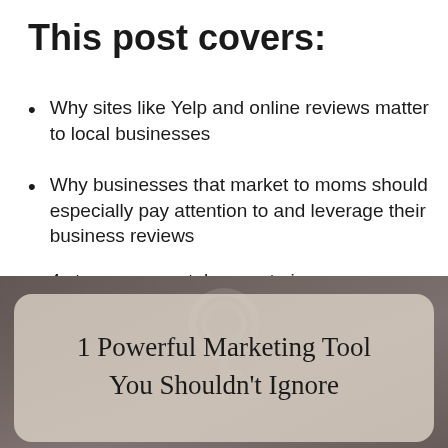This post covers:
Why sites like Yelp and online reviews matter to local businesses
Why businesses that market to moms should especially pay attention to and leverage their business reviews
4 steps you can take now to improve your business listings on review sites, build good reviews, and leverage those reviews to build your business
[Figure (photo): A photo of a key with a decorative rounded rectangle overlay containing the text '1 Powerful Marketing Tool You Shouldn't Ignore']
1 Powerful Marketing Tool You Shouldn't Ignore